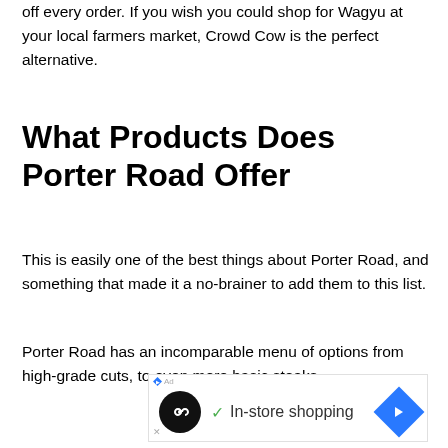off every order. If you wish you could shop for Wagyu at your local farmers market, Crowd Cow is the perfect alternative.
What Products Does Porter Road Offer
This is easily one of the best things about Porter Road, and something that made it a no-brainer to add them to this list.
Porter Road has an incomparable menu of options from high-grade cuts, to even more basic steaks.
[Figure (other): Advertisement banner with a black circular icon containing an infinity loop, a green checkmark, the text 'In-store shopping', and a blue diamond-shaped navigation arrow icon.]